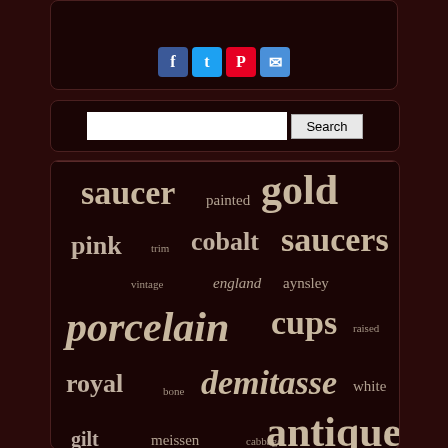[Figure (other): Social media sharing buttons: Facebook, Twitter, Pinterest, Email]
[Figure (other): Search bar with Search button]
[Figure (infographic): Word cloud with antique/porcelain related terms: saucer, painted, gold, pink, trim, cobalt, saucers, vintage, england, aynsley, porcelain, cups, raised, royal, bone, demitasse, white, gilt, meissen, cabbage, antique, green, plate, paragon, rare, gilded, signed, floral, china, rose, limoges]